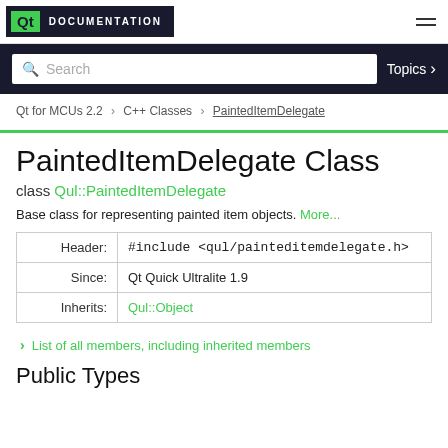Qt DOCUMENTATION
Search  Topics
Qt for MCUs 2.2 > C++ Classes > PaintedItemDelegate
PaintedItemDelegate Class
class Qul::PaintedItemDelegate
Base class for representing painted item objects. More...
|  |  |
| --- | --- |
| Header: | #include <qul/painteditemdelegate.h> |
| Since: | Qt Quick Ultralite 1.9 |
| Inherits: | Qul::Object |
List of all members, including inherited members
Public Types